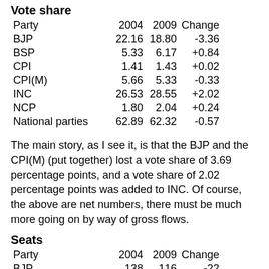Vote share
| Party | 2004 | 2009 | Change |
| --- | --- | --- | --- |
| BJP | 22.16 | 18.80 | -3.36 |
| BSP | 5.33 | 6.17 | +0.84 |
| CPI | 1.41 | 1.43 | +0.02 |
| CPI(M) | 5.66 | 5.33 | -0.33 |
| INC | 26.53 | 28.55 | +2.02 |
| NCP | 1.80 | 2.04 | +0.24 |
| National parties | 62.89 | 62.32 | -0.57 |
The main story, as I see it, is that the BJP and the CPI(M) (put together) lost a vote share of 3.69 percentage points, and a vote share of 2.02 percentage points was added to INC. Of course, the above are net numbers, there must be much more going on by way of gross flows.
Seats
| Party | 2004 | 2009 | Change |
| --- | --- | --- | --- |
| BJP | 138 | 116 | -22 |
| BSP | 19 | 21 | +2 |
| CPI | 10 | 4 | -6 |
| CPI(M) | 43 | 16 | -27 |